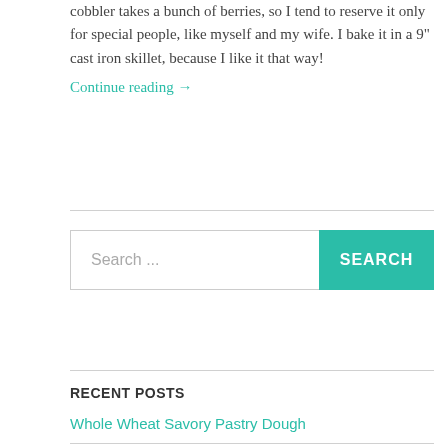cobbler takes a bunch of berries, so I tend to reserve it only for special people, like myself and my wife.  I bake it in a 9" cast iron skillet, because I like it that way!
Continue reading →
Search ...
RECENT POSTS
Whole Wheat Savory Pastry Dough